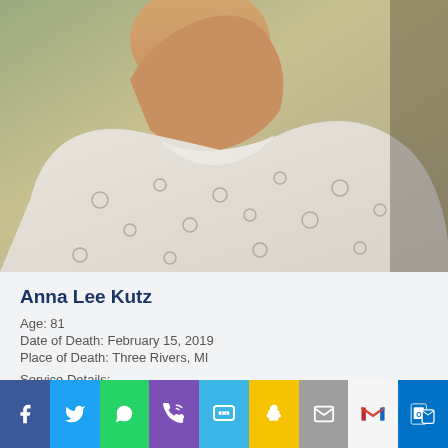[Figure (photo): Close-up photo of an elderly woman smiling, wearing a light floral patterned blouse, photographed from below showing neck and chest area]
Anna Lee Kutz
Age: 81
Date of Death: February 15, 2019
Place of Death: Three Rivers, MI
Service Details:
[Figure (infographic): Social sharing bar with icons for Facebook, Twitter, WhatsApp, Phone, SMS, Snapchat, Email, Gmail, and Outlook]